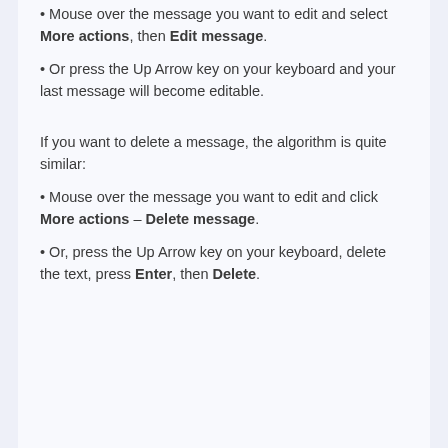• Mouse over the message you want to edit and select More actions, then Edit message.
• Or press the Up Arrow key on your keyboard and your last message will become editable.
If you want to delete a message, the algorithm is quite similar:
• Mouse over the message you want to edit and click More actions – Delete message.
• Or, press the Up Arrow key on your keyboard, delete the text, press Enter, then Delete.